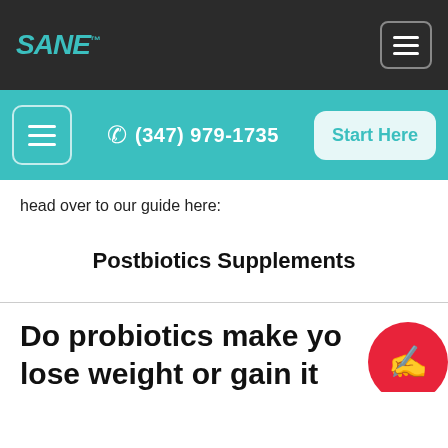SANE™ | (347) 979-1735 | Start Here
head over to our guide here:
Postbiotics Supplements
Do probiotics make you lose weight or gain it?